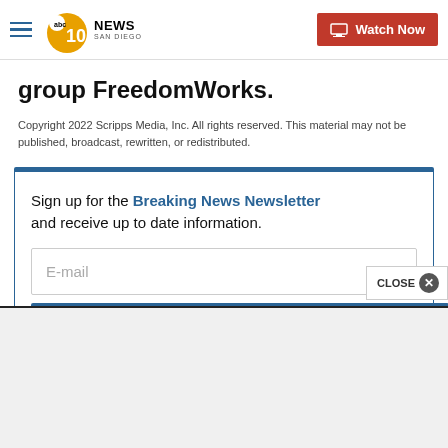ABC 10 News San Diego — Watch Now
group FreedomWorks.
Copyright 2022 Scripps Media, Inc. All rights reserved. This material may not be published, broadcast, rewritten, or redistributed.
Sign up for the Breaking News Newsletter and receive up to date information.
E-mail
Submit